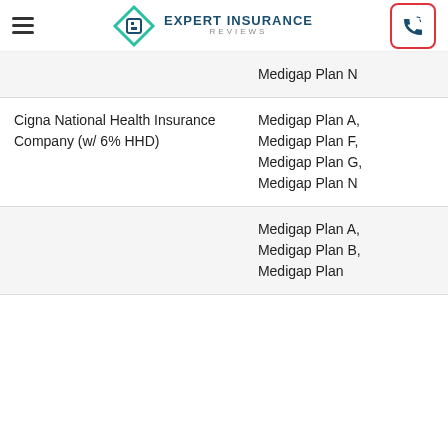Expert Insurance Reviews
| Company | Plans |
| --- | --- |
|  | Medigap Plan N |
| Cigna National Health Insurance Company (w/ 6% HHD) | Medigap Plan A, Medigap Plan F, Medigap Plan G, Medigap Plan N |
|  | Medigap Plan A, Medigap Plan B, Medigap Plan |